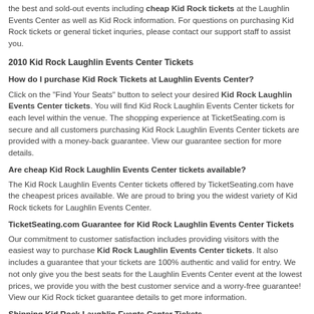the best and sold-out events including cheap Kid Rock tickets at the Laughlin Events Center as well as Kid Rock information. For questions on purchasing Kid Rock tickets or general ticket inquries, please contact our support staff to assist you.
2010 Kid Rock Laughlin Events Center Tickets
How do I purchase Kid Rock Tickets at Laughlin Events Center?
Click on the "Find Your Seats" button to select your desired Kid Rock Laughlin Events Center tickets. You will find Kid Rock Laughlin Events Center tickets for each level within the venue. The shopping experience at TicketSeating.com is secure and all customers purchasing Kid Rock Laughlin Events Center tickets are provided with a money-back guarantee. View our guarantee section for more details.
Are cheap Kid Rock Laughlin Events Center tickets available?
The Kid Rock Laughlin Events Center tickets offered by TicketSeating.com have the cheapest prices available. We are proud to bring you the widest variety of Kid Rock tickets for Laughlin Events Center.
TicketSeating.com Guarantee for Kid Rock Laughlin Events Center Tickets
Our commitment to customer satisfaction includes providing visitors with the easiest way to purchase Kid Rock Laughlin Events Center tickets. It also includes a guarantee that your tickets are 100% authentic and valid for entry. We not only give you the best seats for the Laughlin Events Center event at the lowest prices, we provide you with the best customer service and a worry-free guarantee! View our Kid Rock ticket guarantee details to get more information.
Shipping Kid Rock Laughlin Events Center Tickets